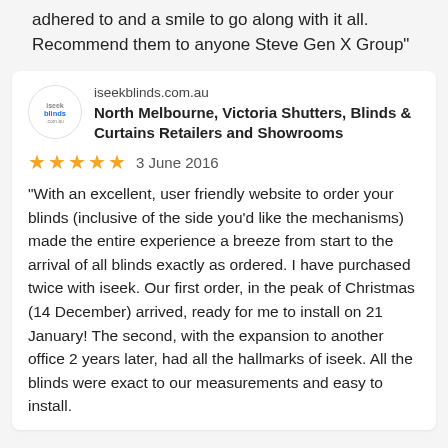adhered to and a smile to go along with it all. Recommend them to anyone Steve Gen X Group"
iseekblinds.com.au
North Melbourne, Victoria Shutters, Blinds & Curtains Retailers and Showrooms
★★★★★  3 June 2016
“With an excellent, user friendly website to order your blinds (inclusive of the side you'd like the mechanisms) made the entire experience a breeze from start to the arrival of all blinds exactly as ordered. I have purchased twice with iseek. Our first order, in the peak of Christmas (14 December) arrived, ready for me to install on 21 January! The second, with the expansion to another office 2 years later, had all the hallmarks of iseek. All the blinds were exact to our measurements and easy to install.